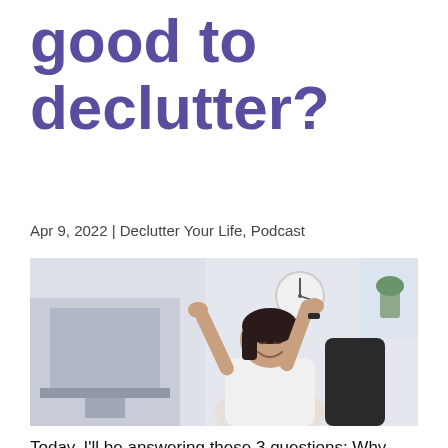good to declutter?
Apr 9, 2022 | Declutter Your Life, Podcast
[Figure (photo): A woman sitting at a desk stretching her arms above her head, smiling, with a clock and plants in the background. A computer monitor is partially visible on the left.]
Today, I'll be answering these 3 questions: Why